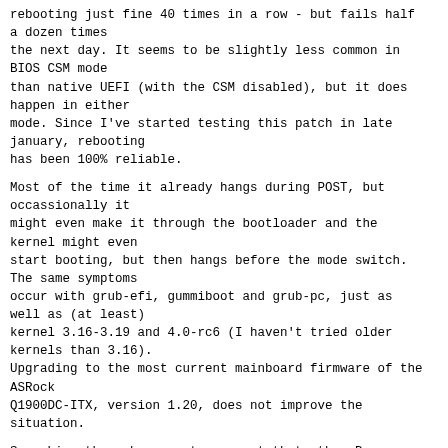rebooting just fine 40 times in a row - but fails half a dozen times the next day. It seems to be slightly less common in BIOS CSM mode than native UEFI (with the CSM disabled), but it does happen in either mode. Since I've started testing this patch in late january, rebooting has been 100% reliable.
Most of the time it already hangs during POST, but occassionally it might even make it through the bootloader and the kernel might even start booting, but then hangs before the mode switch. The same symptoms occur with grub-efi, gummiboot and grub-pc, just as well as (at least) kernel 3.16-3.19 and 4.0-rc6 (I haven't tried older kernels than 3.16). Upgrading to the most current mainboard firmware of the ASRock Q1900DC-ITX, version 1.20, does not improve the situation.
Searching the web seems to suggest that other Bay Trail-D mainboards might be affected as well.
The patch applies without problems against 3.19, 4.0-rc and linux-next.